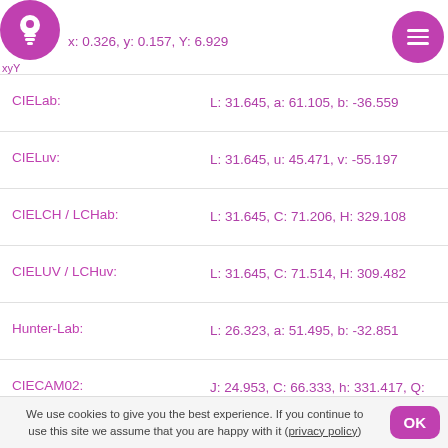xyY: x: 0.326, y: 0.157, Y: 6.929
CIELab: L: 31.645, a: 61.105, b: -36.559
CIELuv: L: 31.645, u: 45.471, v: -55.197
CIELCH / LCHab: L: 31.645, C: 71.206, H: 329.108
CIELUV / LCHuv: L: 31.645, C: 71.514, H: 309.482
Hunter-Lab: L: 26.323, a: 51.495, b: -32.851
CIECAM02: J: 24.953, C: 66.333, h: 331.417, Q: 98.418, M: 58.008, s: 76.772, H: 356.229
OSA-UCS: lightness: -10.491, jaune: -7.716, green: -10.222
LMS: L: 9.822, M: 1.778, S: 22.525
We use cookies to give you the best experience. If you continue to use this site we assume that you are happy with it (privacy policy)